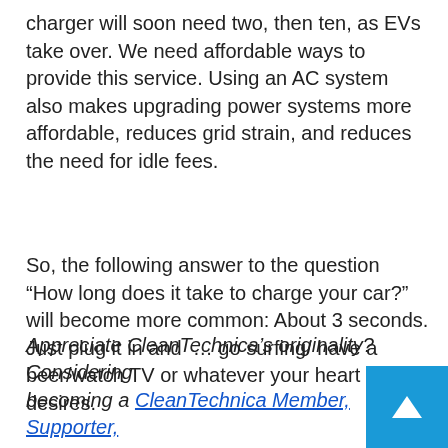charger will soon need two, then ten, as EVs take over. We need affordable ways to provide this service. Using an AC system also makes upgrading power systems more affordable, reduces grid strain, and reduces the need for idle fees.
So, the following answer to the question “How long does it take to charge your car?” will become more common: About 3 seconds. Just plug it in and … go surfing/ have a beer/watch TV or whatever your heart desires.
Appreciate CleanTechnica’s originality? Cons[idering] becoming a CleanTechnica Member, Supporter,